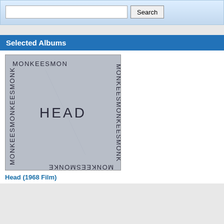[Figure (screenshot): Search box with text input field and Search button on a light blue gradient background]
Selected Albums
[Figure (illustration): Album cover for Head (1968 Film) by The Monkees. Gray background with 'HEAD' in the center and 'MONKEESMONKEESMONKEES...' text running along all four borders forming a frame.]
Head (1968 Film)